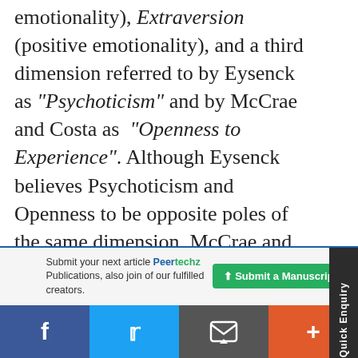emotionality), Extraversion (positive emotionality), and a third dimension referred to by Eysenck as "Psychoticism" and by McCrae and Costa as "Openness to Experience". Although Eysenck believes Psychoticism and Openness to be opposite poles of the same dimension, McCrae and Costa demur, arguing that the link remains to be demonstrated [23].
Type A and Type B personality
Submit your next article Peertechz Publications, also join of our fulfilled creators.
[Figure (infographic): Quick Enquiry sidebar tab on the right side of the page]
[Figure (infographic): Social media sharing bar at the bottom: Facebook, Twitter, Email, Plus buttons]